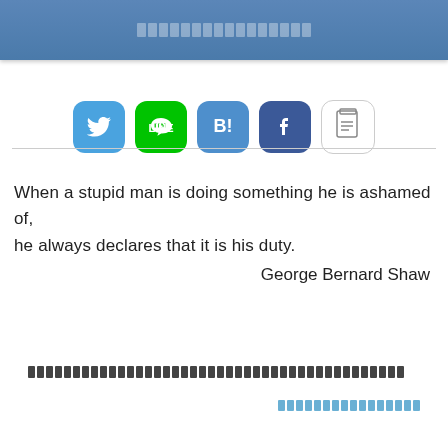[Japanese text header]
[Figure (infographic): Row of 5 social share icons: Twitter (blue bird), LINE (green chat), Hatena Bookmark (blue B!), Facebook (blue f), and a copy/note icon (white with lines)]
When a stupid man is doing something he is ashamed of, he always declares that it is his duty.

George Bernard Shaw
[Japanese footer text placeholder]
[Japanese link text placeholder]